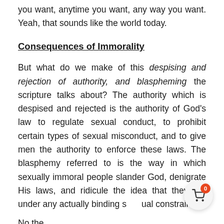you want, anytime you want, any way you want. Yeah, that sounds like the world today.
Consequences of Immorality
But what do we make of this despising and rejection of authority, and blaspheming the scripture talks about? The authority which is despised and rejected is the authority of God’s law to regulate sexual conduct, to prohibit certain types of sexual misconduct, and to give men the authority to enforce these laws. The blasphemy referred to is the way in which sexually immoral people slander God, denigrate His laws, and ridicule the idea that they are under any actually binding sexual constraints.
No the...